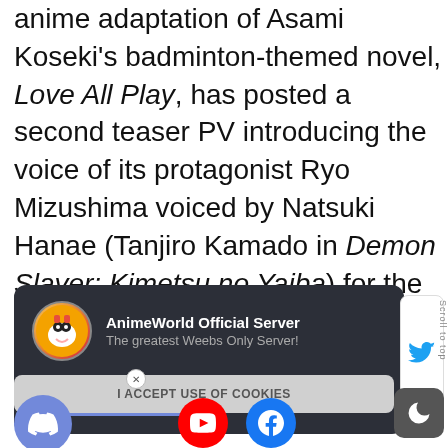anime adaptation of Asami Koseki's badminton-themed novel, Love All Play, has posted a second teaser PV introducing the voice of its protagonist Ryo Mizushima voiced by Natsuki Hanae (Tanjiro Kamado in Demon Slayer: Kimetsu no Yaiba) for the first time.
[Figure (infographic): Discord promotional card with dark background showing AnimeWorld Official Server with avatar, server name, subtitle 'The greatest Weebs Only Server!' and a purple 'Join Now' button]
[Figure (infographic): Cookie consent bar with 'I ACCEPT USE OF COOKIES' text, social media FABs (Discord, YouTube, Facebook), Twitter bird icon box, and dark mode moon button]